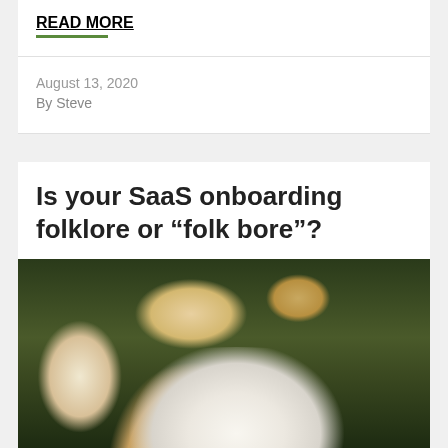READ MORE
August 13, 2020
By Steve
Is your SaaS onboarding folklore or “folk bore”?
[Figure (photo): Portrait photo of a young woman with wavy blonde hair in a bun, wearing a white turtleneck sweater, with green foliage in the background.]